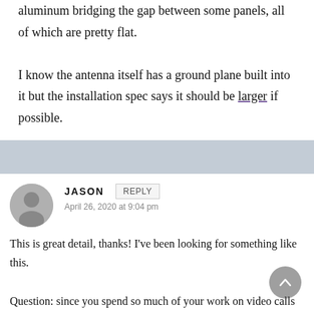aluminum bridging the gap between some panels, all of which are pretty flat.

I know the antenna itself has a ground plane built into it but the installation spec says it should be larger if possible.
JASON
April 26, 2020 at 9:04 pm

This is great detail, thanks! I've been looking for something like this.

Question: since you spend so much of your work on video calls with clients and needing consistent internet access, do you find you have to be selective about where